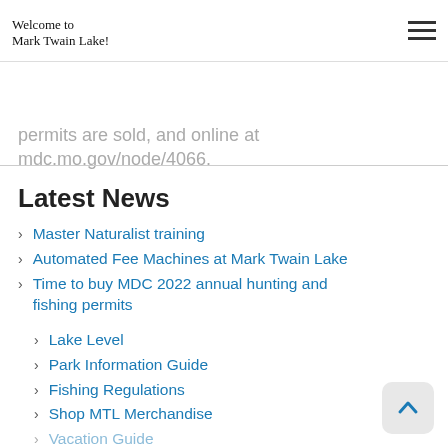Welcome to Mark Twain Lake!
from MDC offices and nature centers, other places where permits are sold, and online at mdc.mo.gov/node/4066.
Latest News
Master Naturalist training
Automated Fee Machines at Mark Twain Lake
Time to buy MDC 2022 annual hunting and fishing permits
Lake Level
Park Information Guide
Fishing Regulations
Shop MTL Merchandise
Vacation Guide